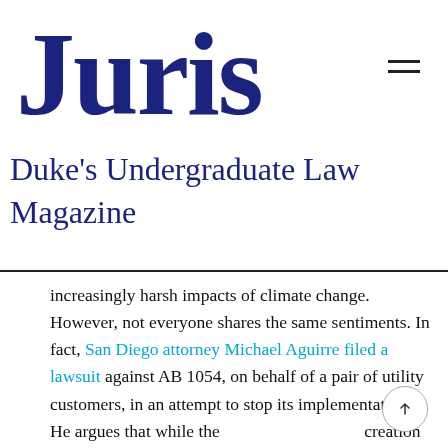Juris
Duke's Undergraduate Law Magazine
increasingly harsh impacts of climate change. However, not everyone shares the same sentiments. In fact, San Diego attorney Michael Aguirre filed a lawsuit against AB 1054, on behalf of a pair of utility customers, in an attempt to stop its implementation. He argues that while the creation of the Wildfire fund might be prudent, it